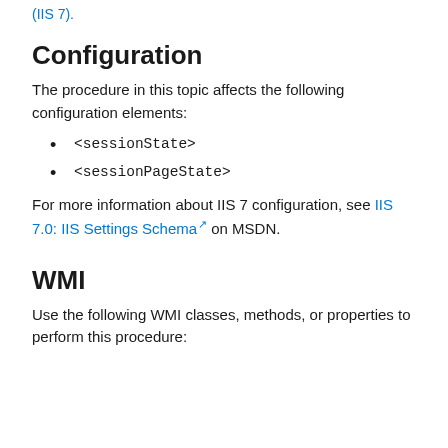(IIS 7).
Configuration
The procedure in this topic affects the following configuration elements:
<sessionState>
<sessionPageState>
For more information about IIS 7 configuration, see IIS 7.0: IIS Settings Schema on MSDN.
WMI
Use the following WMI classes, methods, or properties to perform this procedure: